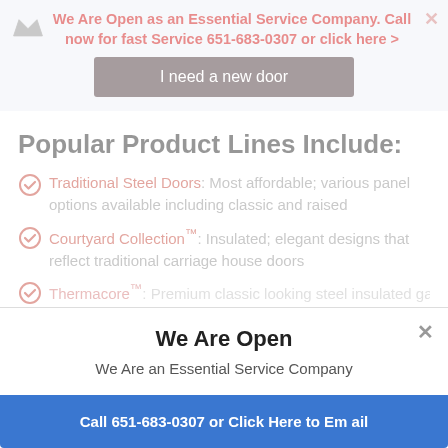We Are Open as an Essential Service Company. Call now for fast Service 651-683-0307 or click here >
I need a new door
Popular Product Lines Include:
Traditional Steel Doors: Most affordable; various panel options available including classic and raised
Courtyard Collection™: Insulated; elegant designs that reflect traditional carriage house doors
Thermacore™: Premium classic looking steel insulated garage...
We Are Open
We Are an Essential Service Company
Call 651-683-0307 or Click Here to Email